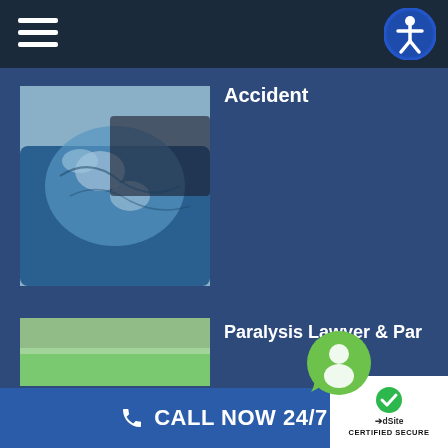Accident
[Figure (photo): Close-up of two cars after a collision, showing crumpled blue front bumper against a dark vehicle]
Insurance Settlement Offer Too Low After St Louis Auto Accident
[Figure (photo): Person signing documents at a desk with another person across the table, pen in hand, paperwork and blue folder visible]
Paralysis Lawyer & Par
[Figure (photo): Partially visible outdoor scene with green grass]
CALL NOW 24/7